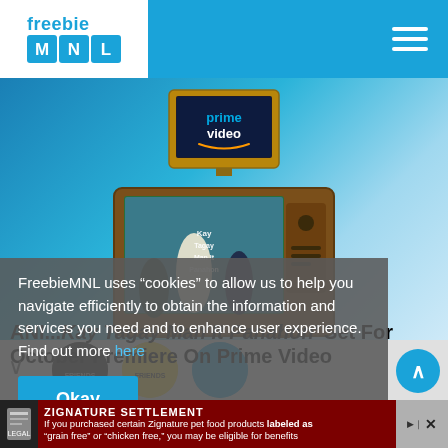freebie MNL
[Figure (screenshot): Hero image showing a vintage wooden TV with Amazon Prime Video logo on small TV on top, and a Filipino drama show 'Kay Tagay Man It Panahon' displayed on the main screen, against a blue background.]
ANI...Kay Tagay Man It Panahon' Set For October Premiere On Prime Video
FreebieMNL uses “cookies” to allow us to help you navigate efficiently to obtain the information and services you need and to enhance user experience. Find out more here
Okay
[Figure (screenshot): Bottom thumbnail strip showing circular thumbnails labeled FRIENDS]
ZIGNATURE SETTLEMENT
If you purchased certain Zignature pet food products labeled as “grain free” or “chicken free,” you may be eligible for benefits